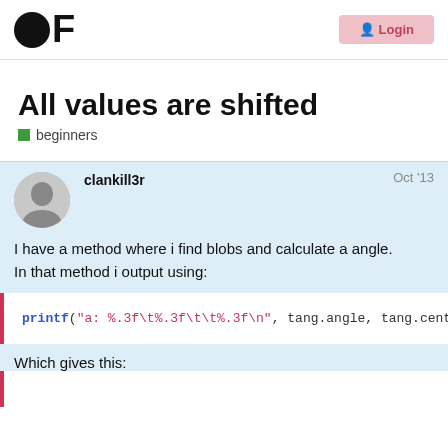OF logo and Login button
All values are shifted
beginners
clankill3r   Oct '13
I have a method where i find blobs and calculate a angle.
In that method i output using:
Which gives this: